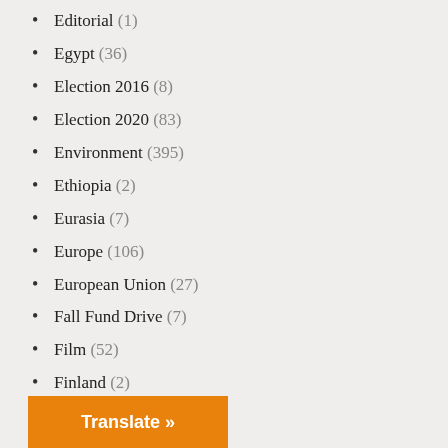Editorial (1)
Egypt (36)
Election 2016 (8)
Election 2020 (83)
Environment (395)
Ethiopia (2)
Eurasia (7)
Europe (106)
European Union (27)
Fall Fund Drive (7)
Film (52)
Finland (2)
Foreign Policy (2,811)
France (80)
Gabon (2)
Gary Webb Freedom of the Press Award (7)
Georgia (2)
Translate »